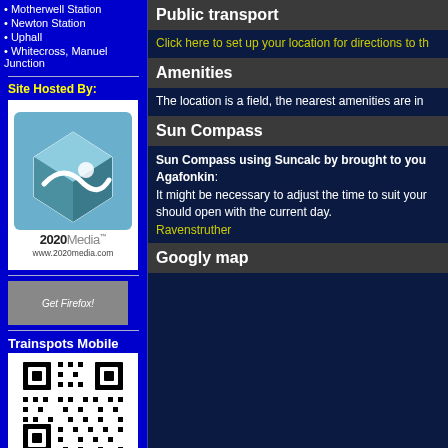Motherwell Station
Newton Station
Uphall
Whitecross, Manuel Junction
Site Hosted By:
[Figure (logo): 2020Media logo - blue cube with swoosh and www.2020media.com text]
[Figure (illustration): Get Firefox! button/badge]
Trainspots Mobile
[Figure (other): QR code for Trainspots Mobile]
Public transport
Click here to set up your location for directions to th
Amenities
The location is a field, the nearest amenities are in
Sun Compass
Sun Compass using Suncalc by brought to you Agafonkin: It might be necessary to adjust the time to suit your should open with the current day.
Ravenstruther
Googly map